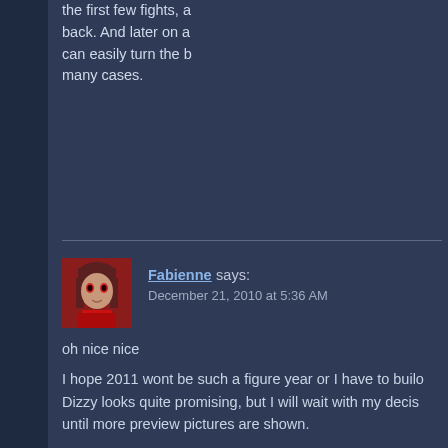the first few fights, a back. And later on a can easily turn the b many cases.
Fabienne says:
December 21, 2010 at 5:36 AM

oh nice nice
I hope 2011 wont be such a figure year or I have to builo
Dizzy looks quite promising, but I will wait with my decis until more preview pictures are shown.

big Sora,eh. in the last arc of Yosuga na sora she has a her devotedness torwards her brother may be wrong bu what Im missing on this figure is a better face expressio

Ah you ordered Super Sonico too, well fully equipped sh